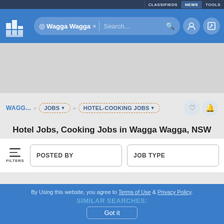CLASSIFIEDS | NEWS | TOOLS
[Figure (screenshot): Website header bar with logo, location search pill showing 'Wagga Wagga', search input, user icon and edit icon]
WAGG... >> JOBS >> HOTEL-COOKING JOBS
Hotel Jobs, Cooking Jobs in Wagga Wagga, NSW
FILTERS | POSTED BY | JOB TYPE
NO RESULTS FOUND!
Looking for something? Get notified when it's posted. Setup an Email Aler
By Using this website, you agree to Terms of Use & Privacy Policy. SIMILAR SEARCHES: Got it